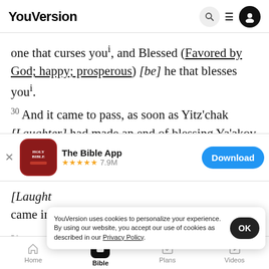YouVersion
one that curses youⁱ, and Blessed (Favored by God; happy; prosperous) [be] he that blesses youⁱ.
30 And it came to pass, as soon as Yitz’chak [Laughter] had made an end of blessing Ya’akov
[Figure (screenshot): The Bible App download banner with icon, 5-star rating 7.9M, and Download button]
[Laught came in
YouVersion uses cookies to personalize your experience. By using our website, you accept our use of cookies as described in our Privacy Policy.
31 And he also had made savoury meat, and
Home   Bible   Plans   Videos